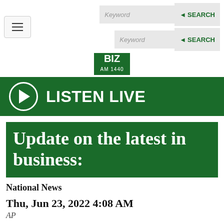[Figure (screenshot): Website navigation bar with hamburger menu button on left, and two keyword search boxes with green SEARCH labels on right]
[Figure (logo): BIZ AM 1440 radio station logo, green background with white text]
[Figure (infographic): Green Listen Live banner with play button circle icon and LISTEN LIVE text in white]
Update on the latest in business:
National News
Thu, Jun 23, 2022 4:08 AM
AP